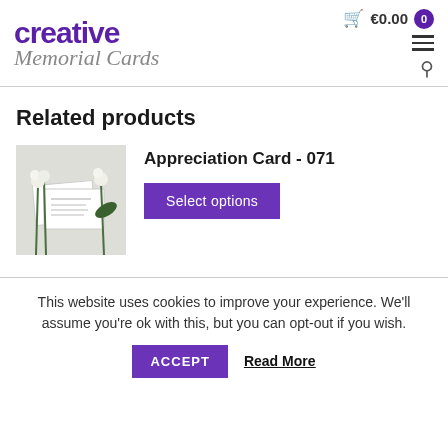Creative Memorial Cards — €0.00 0
Related products
[Figure (photo): Product photo of Appreciation Card 071 showing two cards with white flowers on a light background]
Appreciation Card - 071
Select options
This website uses cookies to improve your experience. We'll assume you're ok with this, but you can opt-out if you wish.
ACCEPT  Read More